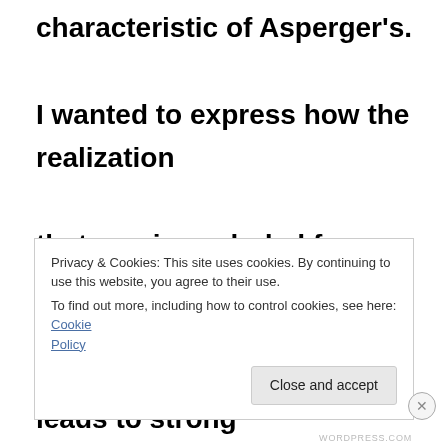characteristic of Asperger's.

I wanted to express how the realization that one is excluded from socially contextual understanding leads to strong feelings of rejection.  And how this sense of isolation then denies a person those
Privacy & Cookies: This site uses cookies. By continuing to use this website, you agree to their use.
To find out more, including how to control cookies, see here: Cookie Policy

[Close and accept]
WORDPRESS.COM